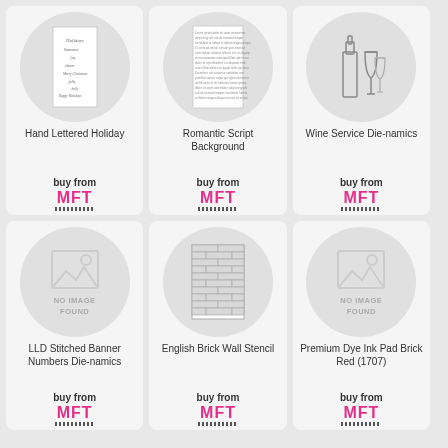[Figure (illustration): Hand Lettered Holiday stamp product image in circular frame]
Hand Lettered Holiday
buy from
MFT
[Figure (illustration): Romantic Script Background stamp product image in circular frame]
Romantic Script Background
buy from
MFT
[Figure (illustration): Wine Service Die-namics product image showing wine bottle and glasses in circular frame]
Wine Service Die-namics
buy from
MFT
[Figure (illustration): No image found placeholder for LLD Stitched Banner Numbers Die-namics]
LLD Stitched Banner Numbers Die-namics
buy from
MFT
[Figure (illustration): English Brick Wall Stencil product image in circular frame]
English Brick Wall Stencil
buy from
MFT
[Figure (illustration): No image found placeholder for Premium Dye Ink Pad Brick Red (1707)]
Premium Dye Ink Pad Brick Red (1707)
buy from
MFT